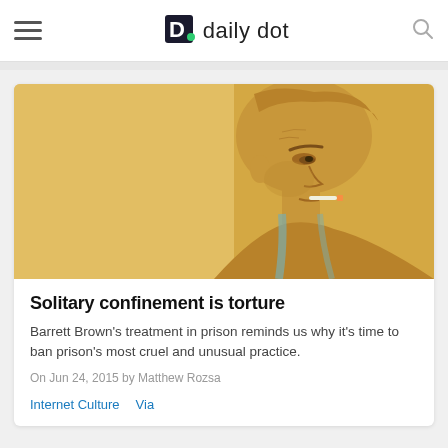daily dot
[Figure (illustration): Golden/yellow-toned illustrated portrait of a person with short hair smoking a cigarette, shown in profile/three-quarter view with a stylized artistic rendering.]
Solitary confinement is torture
Barrett Brown's treatment in prison reminds us why it's time to ban prison's most cruel and unusual practice.
On Jun 24, 2015 by Matthew Rozsa
Internet Culture   Via